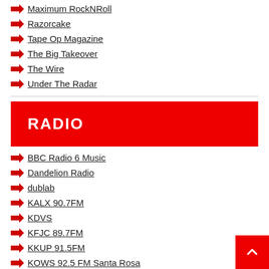Maximum RockNRoll
Razorcake
Tape Op Magazine
The Big Takeover
The Wire
Under The Radar
RADIO
BBC Radio 6 Music
Dandelion Radio
dublab
KALX 90.7FM
KDVS
KFJC 89.7FM
KKUP 91.5FM
KOWS 92.5 FM Santa Rosa
KWVA
KZSU 90.1FM
NTS Radio
Radio Valencia